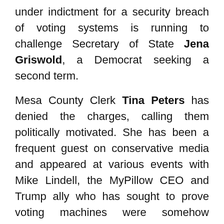under indictment for a security breach of voting systems is running to challenge Secretary of State Jena Griswold, a Democrat seeking a second term.
Mesa County Clerk Tina Peters has denied the charges, calling them politically motivated. She has been a frequent guest on conservative media and appeared at various events with Mike Lindell, the MyPillow CEO and Trump ally who has sought to prove voting machines were somehow manipulated in 2020.
In an interview earlier this year, Peters said she was committed to finding the truth of what happened in 2020 and hoped “the powers that be – instead of taking time to attack me – would solve violent crime, would look into